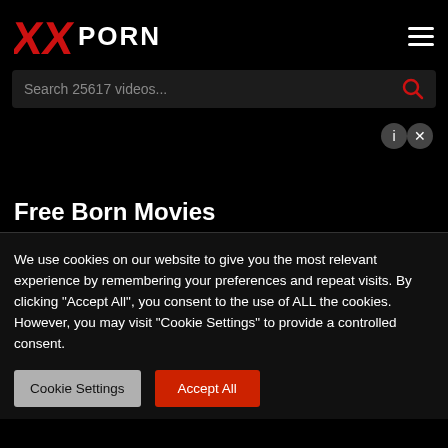XXPORN
Search 25617 videos...
[Figure (other): Advertisement area with close/info buttons]
Free Born Movies
We use cookies on our website to give you the most relevant experience by remembering your preferences and repeat visits. By clicking "Accept All", you consent to the use of ALL the cookies. However, you may visit "Cookie Settings" to provide a controlled consent.
Cookie Settings | Accept All